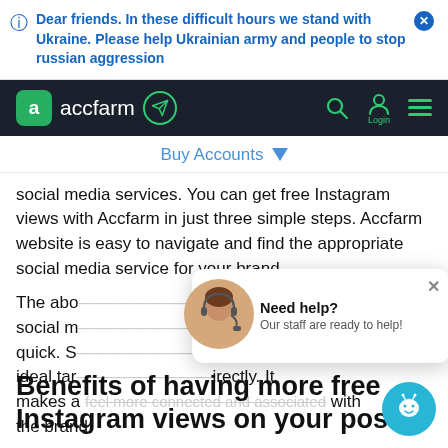Dear friends. In these difficult hours we stand with Ukraine. Please help Ukrainian army and people to stop russian aggression
[Figure (screenshot): Accfarm website navigation bar with logo, telegram icon, search icon, login icon, and menu icon on dark background]
Buy Accounts
social media services. You can get free Instagram views with Accfarm in just three simple steps. Accfarm website is easy to navigate and find the appropriate social media service for your brand.
The abo... to buy social m... y, and quick. S... the ideal tar... irectly. It makes a user feel more connected and associated with the brand.
[Figure (screenshot): Chat popup with agent photo, text 'Need help? Our staff are ready to help!' and close button]
Benefits of having more free Instagram views on your post